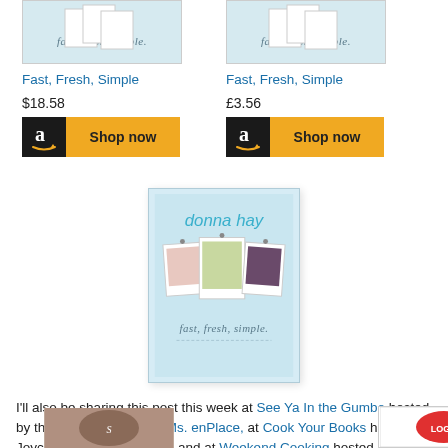[Figure (screenshot): Book product card for 'Fast, Fresh, Simple' showing book cover image, title in blue, price $18.58, and Amazon Shop now button]
[Figure (screenshot): Book product card for 'Fast, Fresh, Simple' showing book cover image, title in blue, price £3.56, and Amazon Shop now button]
[Figure (illustration): Donna Hay book cover 'fast, fresh, simple' with light blue background showing food photographs pinned to background]
I'll also be sharing this post this week at See Ya In the Gumbo hosted by the lovely, Michelle at Ms. enPlace, at Cook Your Books hosted by Joyce at Kitchen Flavours, and at Weekend Cooking hosted by Beth at Beth Fish Reads.
[Figure (photo): Partial image at bottom left]
[Figure (photo): Partial image at bottom right]